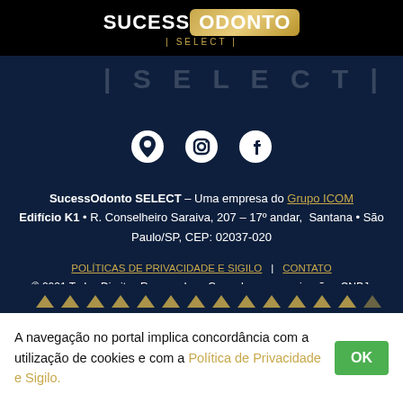[Figure (logo): SucessOdonto SELECT logo with gold badge and select text]
[Figure (illustration): |SELECT| watermark text in large faded letters]
[Figure (illustration): Three social media icons: location pin, Instagram, Facebook]
SucessOdonto SELECT – Uma empresa do Grupo ICOM
Edifício K1 • R. Conselheiro Saraiva, 207 – 17º andar,  Santana • São Paulo/SP, CEP: 02037-020
POLÍTICAS DE PRIVACIDADE E SIGILO  |  CONTATO
© 2021 Todos Direitos Reservados • Grupo Icom comunicação • CNPJ: 32871590/0001-14
[Figure (illustration): Row of small gold triangles decorative divider]
A navegação no portal implica concordância com a utilização de cookies e com a Política de Privacidade e Sigilo.